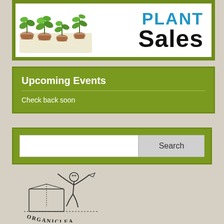[Figure (illustration): Plant Sales banner with seedlings/young plants in pots on left and bold text 'PLANT Sales' on right against white background with olive green border]
Upcoming Events
Check back soon
[Figure (illustration): Search bar with text input field and Search button, olive green background]
[Figure (logo): Organiclea logo: hand-drawn illustration of a figure jumping with arms raised next to a large open book/box, with 'ORGANICLEA' text arced below in serif font]